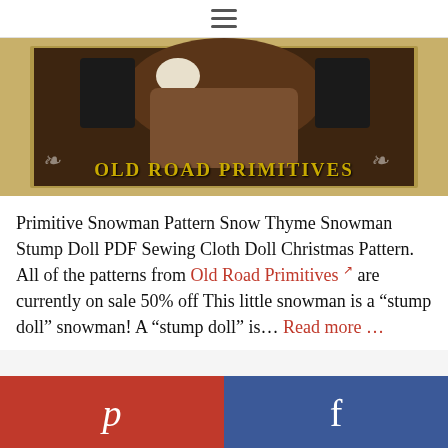≡ (hamburger menu icon)
[Figure (photo): Old Road Primitives logo banner showing a primitive snowman figure in brown fabric with black hat over a tan/gold stamp-style background with decorative scrollwork and text 'OLD ROAD PRIMITIVES' in gold letters]
Primitive Snowman Pattern Snow Thyme Snowman Stump Doll PDF Sewing Cloth Doll Christmas Pattern. All of the patterns from Old Road Primitives ↗ are currently on sale 50% off This little snowman is a “stump doll” snowman! A “stump doll” is... Read more ...
Pinterest | Facebook